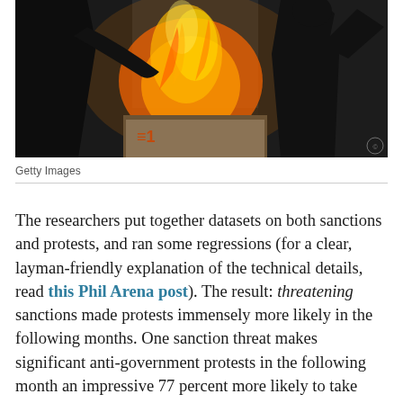[Figure (photo): A person in dark clothing holds up a fist near a burning object/box with flames, photographed from close range. A protest or riot scene.]
Getty Images
The researchers put together datasets on both sanctions and protests, and ran some regressions (for a clear, layman-friendly explanation of the technical details, read this Phil Arena post). The result: threatening sanctions made protests immensely more likely in the following months. One sanction threat makes significant anti-government protests in the following month an impressive 77 percent more likely to take place. While big protests